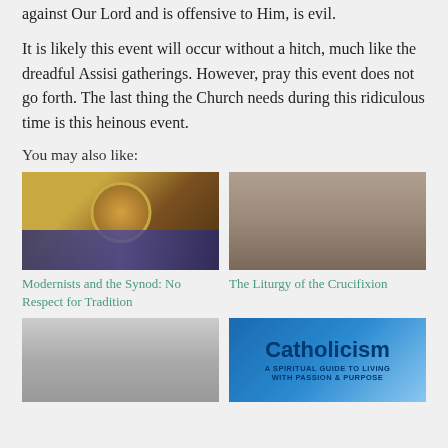against Our Lord and is offensive to Him, is evil.
It is likely this event will occur without a hitch, much like the dreadful Assisi gatherings. However, pray this event does not go forth. The last thing the Church needs during this ridiculous time is this heinous event.
You may also like:
[Figure (photo): Byzantine-style icon of a saint with golden halo, wearing ornate vestments]
[Figure (photo): Jesus Christ on the cross, photographic image from Passion of the Christ]
Modernists and the Synod: No Respect for Tradition
The Liturgy of the Crucifixion
[Figure (photo): Our Lady of Fatima statue in black and white]
[Figure (illustration): Catholicism book cover: A Spiritual Guide to Living with Passion and Purpose]